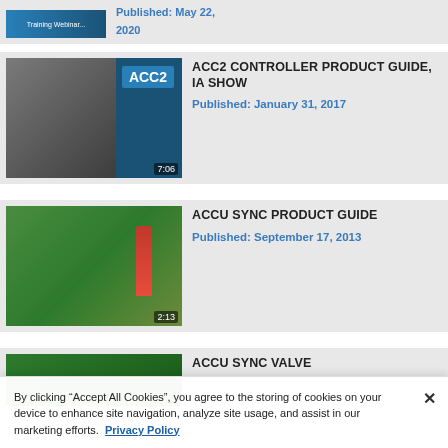[Figure (screenshot): Partial top card with blue thumbnail and text 'Published: May 22, 2020']
[Figure (screenshot): ACC2 Controller Product Guide, IA Show card with thumbnail showing man pointing at ACC2 controller, Published: January 31, 2017]
[Figure (screenshot): Accu Sync Product Guide card with thumbnail showing garden sprinklers and red nozzle, Published: September 17, 2013]
[Figure (screenshot): Partial bottom card showing ACCU SYNC VALVE text]
By clicking “Accept All Cookies”, you agree to the storing of cookies on your device to enhance site navigation, analyze site usage, and assist in our marketing efforts.  Privacy Policy